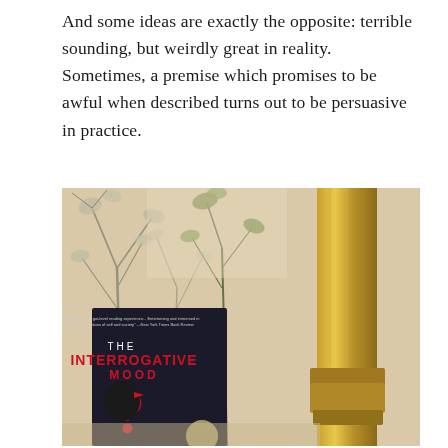And some ideas are exactly the opposite: terrible sounding, but weirdly great in reality. Sometimes, a premise which promises to be awful when described turns out to be persuasive in practice.
[Figure (photo): Photo of a book titled 'The Interrogative Mood' propped up on a surface, with green foliage branches in the background and a brass lamp or column to the right. The book cover features the title in white and red text on a dark background with a stylized question mark and bird silhouette.]